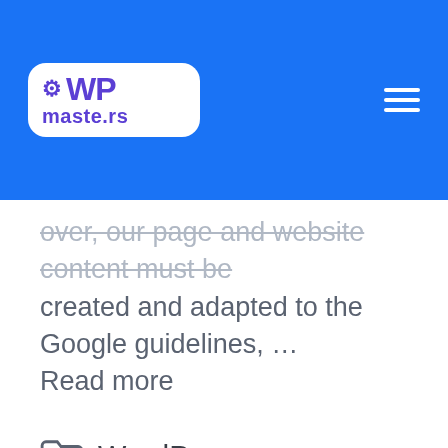WPmaste.rs
over, our page and website content must be created and adapted to the Google guidelines, … Read more
WordPress